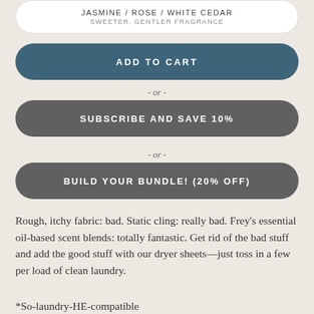JASMINE / ROSE / WHITE CEDAR
SWEETER, GENTLER FRAGRANCE
ADD TO CART
- or -
SUBSCRIBE AND SAVE 10%
- or -
BUILD YOUR BUNDLE! (20% OFF)
Rough, itchy fabric: bad. Static cling: really bad. Frey's essential oil-based scent blends: totally fantastic. Get rid of the bad stuff and add the good stuff with our dryer sheets—just toss in a few per load of clean laundry.
*So-laundry-HE-compatible